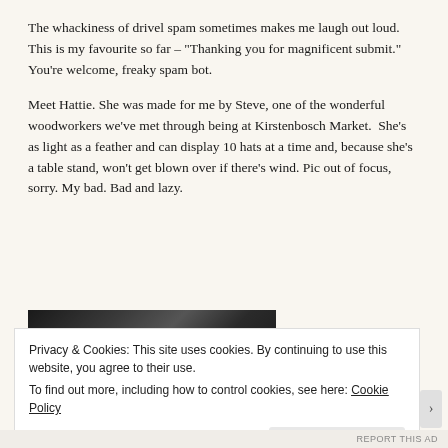The whackiness of drivel spam sometimes makes me laugh out loud. This is my favourite so far – "Thanking you for magnificent submit." You're welcome, freaky spam bot.
Meet Hattie. She was made for me by Steve, one of the wonderful woodworkers we've met through being at Kirstenbosch Market.  She's as light as a feather and can display 10 hats at a time and, because she's a table stand, won't get blown over if there's wind. Pic out of focus, sorry. My bad. Bad and lazy.
[Figure (photo): Partially visible photograph, out of focus, dark tones showing what appears to be a hat display stand]
Privacy & Cookies: This site uses cookies. By continuing to use this website, you agree to their use.
To find out more, including how to control cookies, see here: Cookie Policy
Close and accept